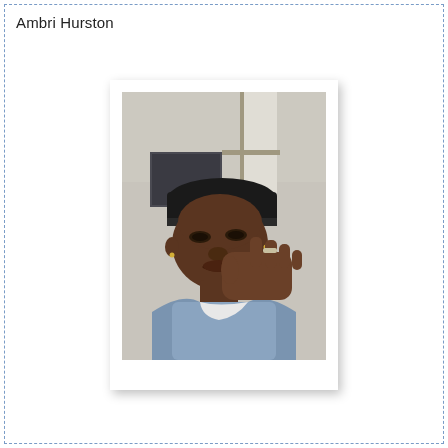Ambri Hurston
[Figure (photo): A young person wearing a dark backwards cap and blue shirt, taking a selfie with hand raised near chin, indoor background with door and ceiling visible.]